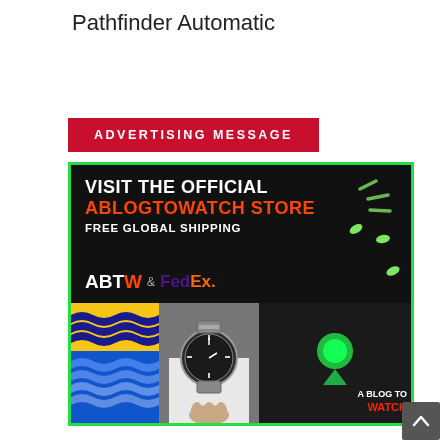Pathfinder Automatic
[Figure (infographic): Red banner with white bold text reading ADVERTISING MESSAGE]
[Figure (infographic): ABTW store advertisement banner with green border, black top section with text VISIT THE OFFICIAL ABLOGTOWATCH STORE FREE GLOBAL SHIPPING, ABTW and FedEx logos, glowing watch dial elements, and bottom collage of wave pattern, luxury watch, and A BLOG TO WATCH branding]